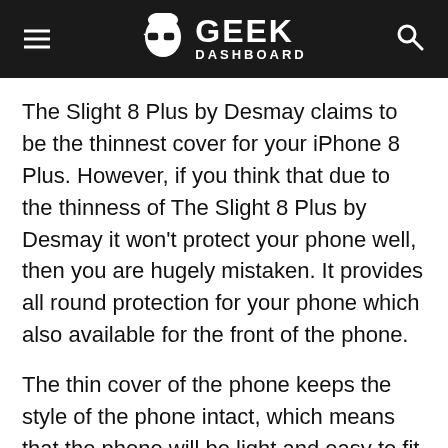GEEK DASHBOARD
The Slight 8 Plus by Desmay claims to be the thinnest cover for your iPhone 8 Plus. However, if you think that due to the thinness of The Slight 8 Plus by Desmay it won't protect your phone well, then you are hugely mistaken. It provides all round protection for your phone which also available for the front of the phone.
The thin cover of the phone keeps the style of the phone intact, which means that the phone will be light and easy to fit into the pocket. The Slight 8 Plus by Desmay will protect your phone from both